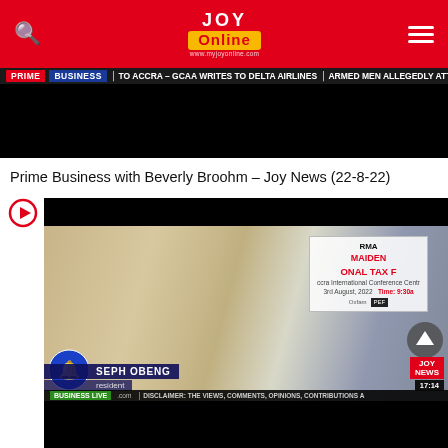JOY Online — navigation header with search icon and menu icon
[Figure (screenshot): Top video thumbnail with ticker bar showing: PRIME BUSINESS | TO ACCRA – GCAA WRITES TO DELTA AIRLINES | ARMED MEN ALLEGEDLY ATTACK OD]
Prime Business with Beverly Broohm – Joy News (22-8-22)
[Figure (screenshot): Video player showing interview at RMA Maiden National Tax Forum, Accra International Conference Centre, 3rd August 2022, Time: 9:30a. Person identified as JOSEPH OBENG, President. JOY NEWS 17:14. BUSINESS LIVE | DISCLAIMER: THE VIEWS, COMMENTS, OPINIONS, CONTRIBUTIONS A...]